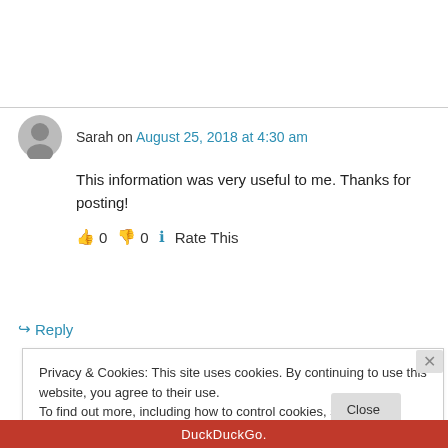Sarah on August 25, 2018 at 4:30 am
This information was very useful to me. Thanks for posting!
👍 0 👎 0 ℹ Rate This
↪ Reply
Privacy & Cookies: This site uses cookies. By continuing to use this website, you agree to their use.
To find out more, including how to control cookies, see here: Cookie Policy
Close and accept
DuckDuckGo.